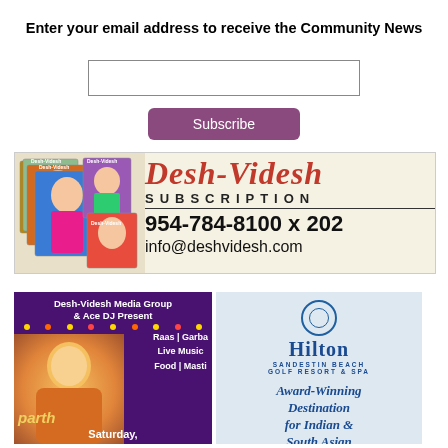Enter your email address to receive the Community News
[Figure (other): Email input text field]
[Figure (other): Subscribe button (purple/mauve)]
[Figure (other): Desh-Videsh Subscription advertisement banner: red stylized logo text 'Desh-Videsh', SUBSCRIPTION, phone 954-784-8100 x 202, info@deshvidesh.com, magazine covers on left]
[Figure (other): Desh-Videsh Media Group & Ace DJ Present ad: purple background, Raas | Garba, Live Music, Food | Masti, performer 'parth', Saturday]
[Figure (other): Hilton Sandestin Beach Golf Resort & Spa advertisement: Award-Winning Destination for Indian & South Asian Weddings]